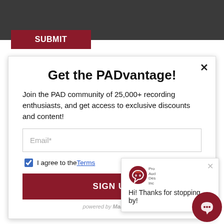[Figure (screenshot): Dark grey header bar background at top of page]
SUBMIT
Get the PADvantage!
Join the PAD community of 25,000+ recording enthusiasts, and get access to exclusive discounts and content!
Email*
I agree to the Terms
SIGN UP
powered by MailMunch
Hi! Thanks for stopping by!